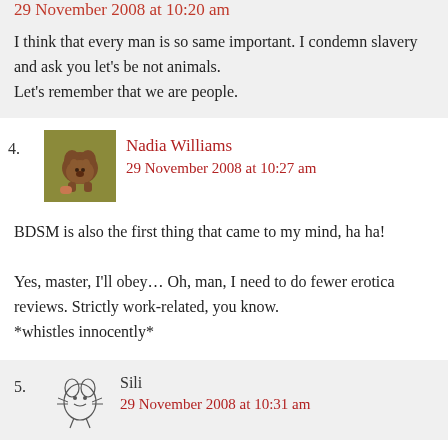29 November 2008 at 10:20 am
I think that every man is so same important. I condemn slavery and ask you let's be not animals.
Let's remember that we are people.
Nadia Williams
29 November 2008 at 10:27 am
BDSM is also the first thing that came to my mind, ha ha!

Yes, master, I'll obey… Oh, man, I need to do fewer erotica reviews. Strictly work-related, you know.
*whistles innocently*
Sili
29 November 2008 at 10:31 am